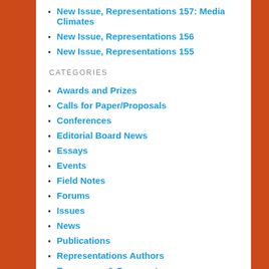New Issue, Representations 157: Media Climates
New Issue, Representations 156
New Issue, Representations 155
CATEGORIES
Awards and Prizes
Calls for Paper/Proposals
Conferences
Editorial Board News
Essays
Events
Field Notes
Forums
Issues
News
Publications
Representations Authors
Responses & Comments
Translations
Uncategorized
Untimely Reviews